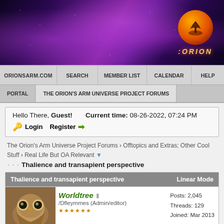[Figure (screenshot): Orion's Arm website banner with purple nebula background and orange Orion logo]
ORIONSARM.COM | SEARCH | MEMBER LIST | CALENDAR | HELP
PORTAL | THE ORION'S ARM UNIVERSE PROJECT FORUMS
Hello There, Guest!  Current time: 08-26-2022, 07:24 PM
🔑 Login  Register ➡
The Orion's Arm Universe Project Forums › Offtopics and Extras; Other Cool Stuff › Real Life But OA Relevant ▼
Thalience and transapient perspective
Thalience and transapient perspective  Linear Mode
Worldtree  /Dfleymmes (Admin/editor)  Posts: 2,045  Threads: 129  Joined: Mar 2013